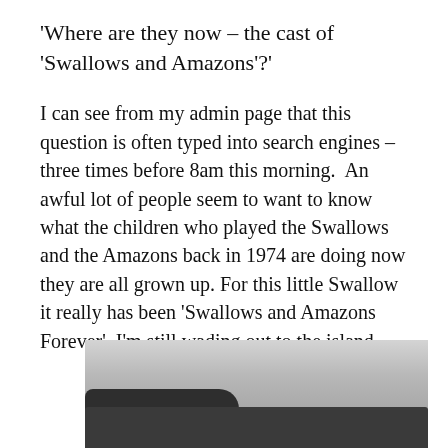'Where are they now – the cast of 'Swallows and Amazons'?'
I can see from my admin page that this question is often typed into search engines – three times before 8am this morning.  An awful lot of people seem to want to know what the children who played the Swallows and the Amazons back in 1974 are doing now they are all grown up. For this little Swallow it really has been 'Swallows and Amazons Forever'. I'm still wading out to the island.
[Figure (photo): Landscape photograph showing a dark treeline or hills at the bottom against an overcast grey sky, partially visible at the bottom of the page.]